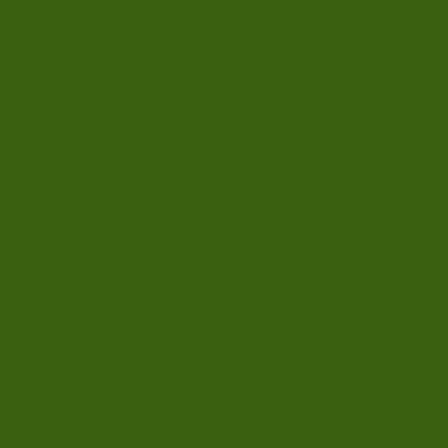[Figure (photo): Dark green background panel occupying the left portion of the page]
the nation," NSA sp... that we use Execu... Intelligence Surveil...
"The assertion that... not true," Vines ad... U.S. persons, mini... exploitation, retenti...
NSA is "a foreign i... developing intelli...
'We Are Outr...
Both Google and Y...
"We have long bee... continued to exten... Drummond, Googl... government, with a...
"We are outraged a... our private fiber ne...
Similarly, "we have... spokesperson Lau...